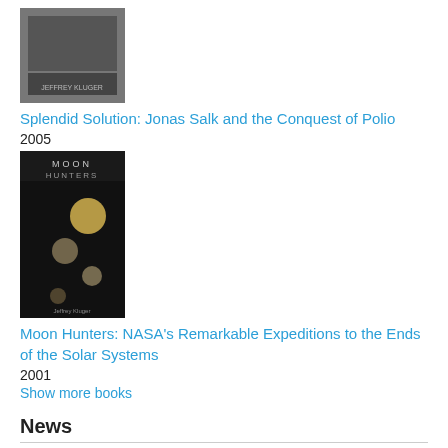[Figure (photo): Book cover for Splendid Solution: Jonas Salk and the Conquest of Polio, dark grayscale cover]
Splendid Solution: Jonas Salk and the Conquest of Polio
2005
[Figure (photo): Book cover for Moon Hunters: NASA's Remarkable Expeditions to the Ends of the Solar Systems, dark cover with circular objects]
Moon Hunters: NASA's Remarkable Expeditions to the Ends of the Solar Systems
2001
Show more books
News
Jeffrey Kluger: Be "a little bit worried" about satellite falling from space
Jeffrey Kluger, editor-at-large for Time magazine told the "CBS This Morning: ... helped Eric Carle become one of the most popular children's book authors.